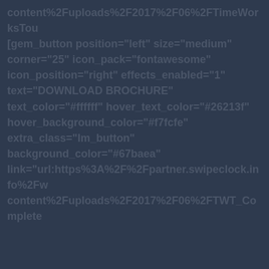content%2Fuploads%2F2017%2F06%2FTimeWorksTou [gem_button position="left" size="medium" corner="25" icon_pack="fontawesome" icon_position="right" effects_enabled="1" text="DOWNLOAD BROCHURE" text_color="#ffffff" hover_text_color="#26213f" hover_background_color="#f7fcfe" extra_class="lm_button" background_color="#67baea" link="url:https%3A%2F%2Fpartner.swipeclock.info%2Fw content%2Fuploads%2F2017%2F06%2FTWT_Complete